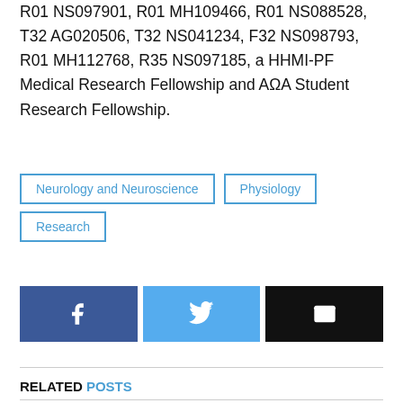R01 NS097901, R01 MH109466, R01 NS088528, T32 AG020506, T32 NS041234, F32 NS098793, R01 MH112768, R35 NS097185, a HHMI-PF Medical Research Fellowship and AΩA Student Research Fellowship.
Neurology and Neuroscience
Physiology
Research
[Figure (infographic): Three share buttons: Facebook (dark blue with f icon), Twitter (light blue with bird icon), Email (black with envelope icon)]
RELATED POSTS